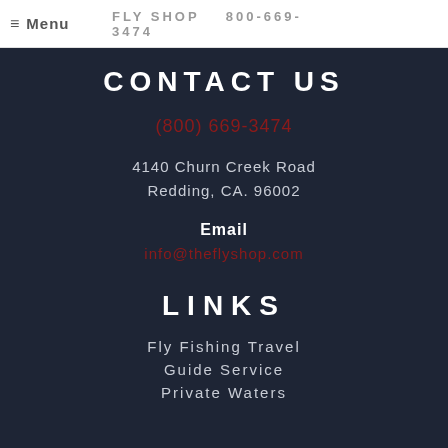≡ Menu  FLY SHOP  800-669-3474
CONTACT US
(800) 669-3474
4140 Churn Creek Road
Redding, CA. 96002
Email
info@theflyshop.com
LINKS
Fly Fishing Travel
Guide Service
Private Waters